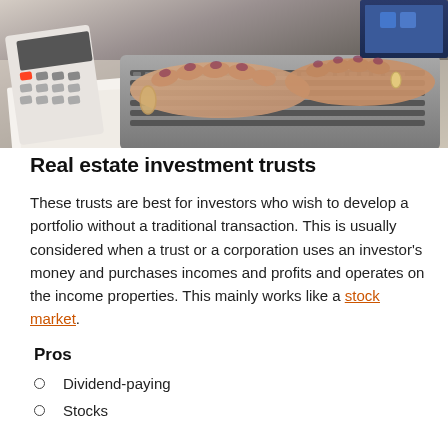[Figure (photo): Overhead view of a person's hands typing on a laptop keyboard, with a calculator and papers visible beside the laptop on a desk.]
Real estate investment trusts
These trusts are best for investors who wish to develop a portfolio without a traditional transaction. This is usually considered when a trust or a corporation uses an investor’s money and purchases incomes and profits and operates on the income properties. This mainly works like a stock market.
Pros
Dividend-paying
Stocks